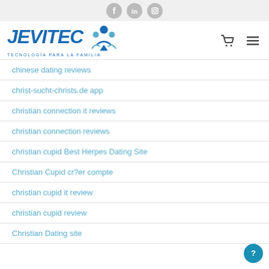Social icons: Facebook, LinkedIn, Instagram
[Figure (logo): JEVITEC logo with people icon and tagline TECNOLOGÍA PARA LA FAMILIA, plus cart and hamburger menu icons]
chinese dating reviews
christ-sucht-christs.de app
christian connection it reviews
christian connection reviews
christian cupid Best Herpes Dating Site
Christian Cupid cr?er compte
christian cupid it review
christian cupid review
Christian Dating site